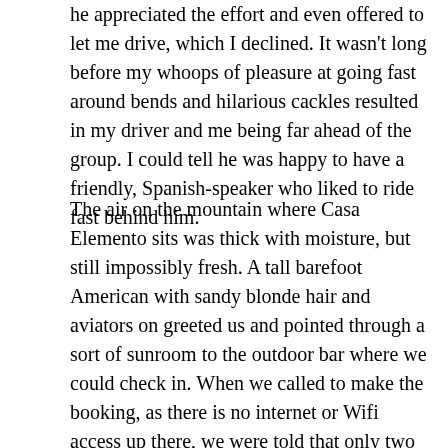he appreciated the effort and even offered to let me drive, which I declined. It wasn't long before my whoops of pleasure at going fast around bends and hilarious cackles resulted in my driver and me being far ahead of the group. I could tell he was happy to have a friendly, Spanish-speaker who liked to ride fast behind him.
The air on the mountain where Casa Elemento sits was thick with moisture, but still impossibly fresh. A tall barefoot American with sandy blonde hair and aviators on greeted us and pointed through a sort of sunroom to the outdoor bar where we could check in. When we called to make the booking, as there is no internet or Wifi access up there, we were told that only two of us could have beds and the other two would have to sleep in hammocks. Kat and I opted to take the hammocks- I had never slept in one and felt like I should before leaving South America, and she just didn't mind them. While we were ordering up our first drinks of the night and inquiring,